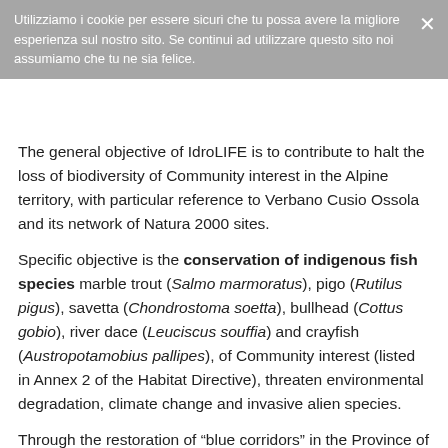Utilizziamo i cookie per essere sicuri che tu possa avere la migliore esperienza sul nostro sito. Se continui ad utilizzare questo sito noi assumiamo che tu ne sia felice.
The general objective of IdroLIFE is to contribute to halt the loss of biodiversity of Community interest in the Alpine territory, with particular reference to Verbano Cusio Ossola and its network of Natura 2000 sites.
Specific objective is the conservation of indigenous fish species marble trout (Salmo marmoratus), pigo (Rutilus pigus), savetta (Chondrostoma soetta), bullhead (Cottus gobio), river dace (Leuciscus souffia) and crayfish (Austropotamobius pallipes), of Community interest (listed in Annex 2 of the Habitat Directive), threaten environmental degradation, climate change and invasive alien species.
Through the restoration of “blue corridors” in the Province of Verbano Cusio Ossola with the construction of fish passages, IdroLIFE aims at re-establishing connectivity from Lake Maggiore to the Natura 2000 sites SPA IT1140017 “Fiume Toce” and SAC IT1140006 “Greto Torrente Toce tra